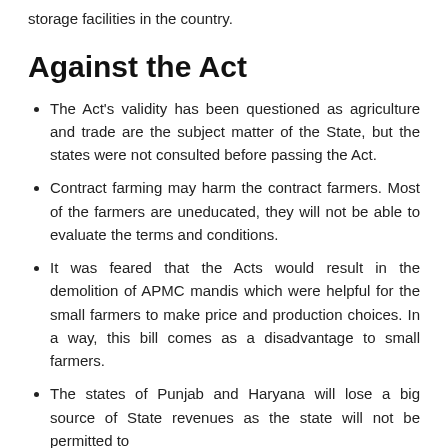storage facilities in the country.
Against the Act
The Act's validity has been questioned as agriculture and trade are the subject matter of the State, but the states were not consulted before passing the Act.
Contract farming may harm the contract farmers. Most of the farmers are uneducated, they will not be able to evaluate the terms and conditions.
It was feared that the Acts would result in the demolition of APMC mandis which were helpful for the small farmers to make price and production choices. In a way, this bill comes as a disadvantage to small farmers.
The states of Punjab and Haryana will lose a big source of State revenues as the state will not be permitted to